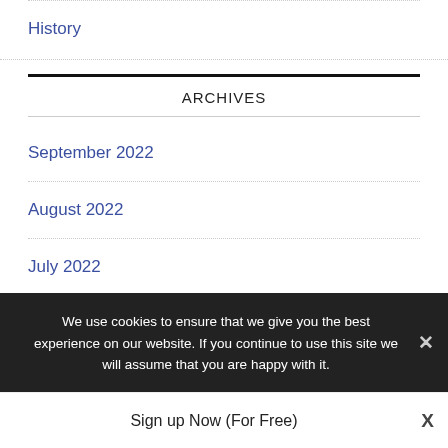History
ARCHIVES
September 2022
August 2022
July 2022
We use cookies to ensure that we give you the best experience on our website. If you continue to use this site we will assume that you are happy with it.
Sign up Now (For Free)